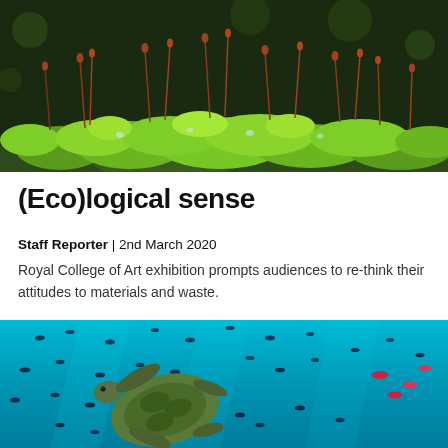[Figure (photo): Close-up macro photograph of bright green moss with reddish-brown sporophyte stalks and seed capsules, with bokeh background]
(Eco)logical sense
Staff Reporter | 2nd March 2020
Royal College of Art exhibition prompts audiences to re-think their attitudes to materials and waste.
[Figure (photo): Underwater photograph of a sea turtle swimming through a school of small fish in bright turquoise blue water, with some red/pink fish visible on the right]